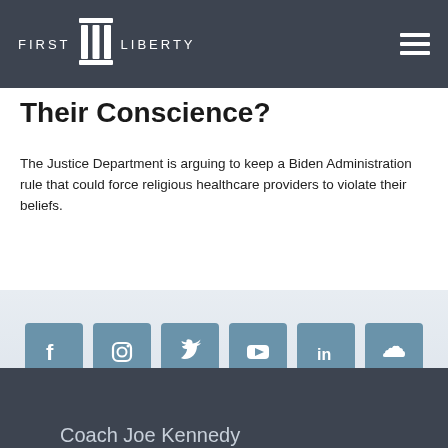FIRST LIBERTY
Their Conscience?
The Justice Department is arguing to keep a Biden Administration rule that could force religious healthcare providers to violate their beliefs.
[Figure (infographic): Row of six social media icons: Facebook, Instagram, Twitter, YouTube, LinkedIn, SoundCloud — all styled as teal-blue rounded square buttons]
Judicial Nominees
Coach Joe Kennedy